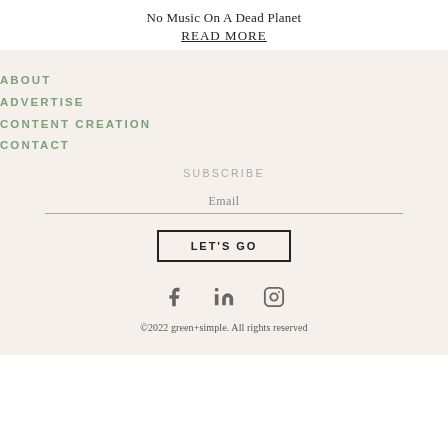No Music On A Dead Planet
READ MORE
ABOUT
ADVERTISE
CONTENT CREATION
CONTACT
SUBSCRIBE
Email
LET'S GO
[Figure (illustration): Social media icons: Facebook, LinkedIn, Instagram]
©2022 green+simple. All rights reserved